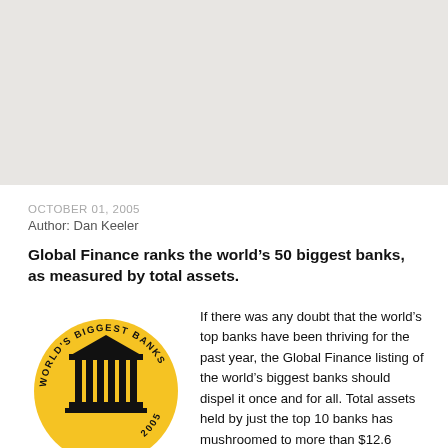[Figure (illustration): Gray placeholder image area at the top of the page]
OCTOBER 01, 2005
Author: Dan Keeler
Global Finance ranks the world’s 50 biggest banks, as measured by total assets.
[Figure (logo): World's Biggest Banks 2005 circular badge logo with a bank/temple building illustration in gold and black. Text reads WORLD'S BIGGEST BANKS 2005 around the circle. Below the circle reads GLOBAL in stylized text.]
If there was any doubt that the world’s top banks have been thriving for the past year, the Global Finance listing of the world’s biggest banks should dispel it once and for all. Total assets held by just the top 10 banks has mushroomed to more than $12.6